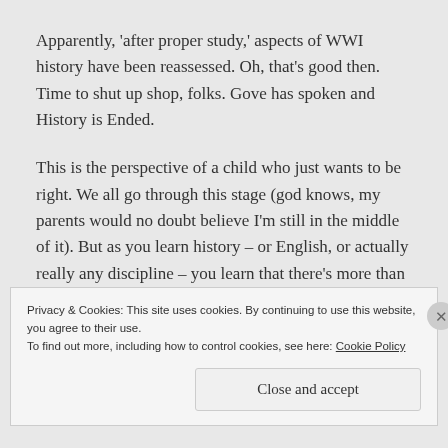Apparently, 'after proper study,' aspects of WWI history have been reassessed. Oh, that's good then. Time to shut up shop, folks. Gove has spoken and History is Ended.
This is the perspective of a child who just wants to be right. We all go through this stage (god knows, my parents would no doubt believe I'm still in the middle of it). But as you learn history – or English, or actually really any discipline – you learn that there's more than being 'right'.
Privacy & Cookies: This site uses cookies. By continuing to use this website, you agree to their use.
To find out more, including how to control cookies, see here: Cookie Policy